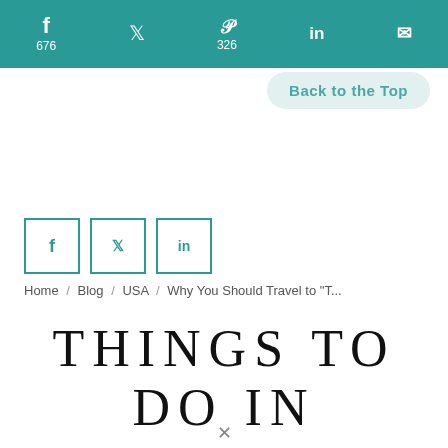Facebook 676 | Twitter | Pinterest 326 | LinkedIn | Email
[Figure (screenshot): Back to the Top button in light teal/mint color]
[Figure (infographic): Social share buttons: Facebook, Twitter, LinkedIn icons in teal outlined squares]
Home / Blog / USA / Why You Should Travel to "T..."
THINGS TO DO IN NANTUCKET THE "FARAWAY PLACE" IN NEW